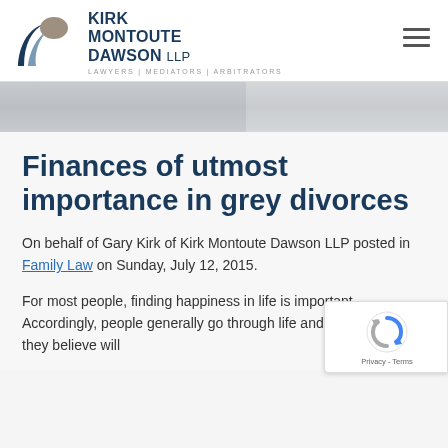[Figure (logo): Kirk Montoute Dawson LLP logo with abstract wave/leaf shapes in dark blue, gray-blue, and taupe, with firm name beside it and tagline 'LAWYERS | MEDIATORS | ARBITRATORS' below]
Finances of utmost importance in grey divorces
On behalf of Gary Kirk of Kirk Montoute Dawson LLP posted in Family Law on Sunday, July 12, 2015.
For most people, finding happiness in life is important. Accordingly, people generally go through life and try to obtain as they believe will...